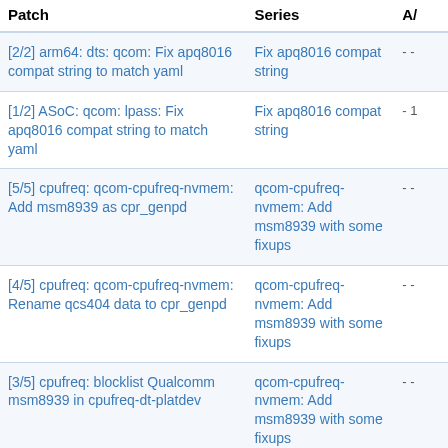| Patch | Series | A/ |
| --- | --- | --- |
| [2/2] arm64: dts: qcom: Fix apq8016 compat string to match yaml | Fix apq8016 compat string | - - |
| [1/2] ASoC: qcom: lpass: Fix apq8016 compat string to match yaml | Fix apq8016 compat string | - 1 |
| [5/5] cpufreq: qcom-cpufreq-nvmem: Add msm8939 as cpr_genpd | qcom-cpufreq-nvmem: Add msm8939 with some fixups | - - |
| [4/5] cpufreq: qcom-cpufreq-nvmem: Rename qcs404 data to cpr_genpd | qcom-cpufreq-nvmem: Add msm8939 with some fixups | - - |
| [3/5] cpufreq: blocklist Qualcomm msm8939 in cpufreq-dt-platdev | qcom-cpufreq-nvmem: Add msm8939 with some fixups | - - |
| [2/5] dt-bindings: opp: Add msm8939 to the compatible list | qcom-cpufreq-nvmem: Add msm8939 with some fixups | 1 - |